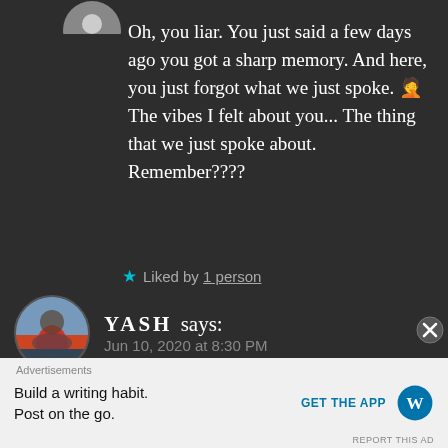[Figure (screenshot): Partial circular avatar visible at top of dark comment section]
Oh, you liar. You just said a few days ago you got a sharp memory. And here, you just forgot what we just spoke. 🤦‍♀️ The vibes I felt about you... The thing that we just spoke about. Remember????
★ Liked by 1 person
[Figure (photo): Circular avatar photo of a person on a mountain/hilltop with sky background]
YASH says: Jun 10, 2020 at 8:30 PM
Advertisements
Build a writing habit. Post on the go.
GET THE APP